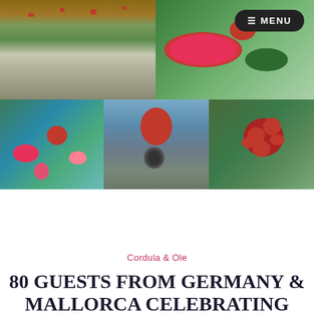[Figure (photo): Wedding photo collage showing outdoor wedding venue with red floral decorations, rows of chairs under a decorated pergola, close-up of red gerbera daisy with greenery, poolside decorations with pink flamingos and red flowers, outdoor venue with red heart balloon, and bunch of red balloons against green foliage. Menu button overlay in top right.]
[Figure (photo): Wedding banner photo with script text overlay reading 'Wedding Cordula & Ole' over a red background with baskets and red fabric decorations]
Cordula & Ole
80 GUESTS FROM GERMANY & MALLORCA CELEBRATING THE